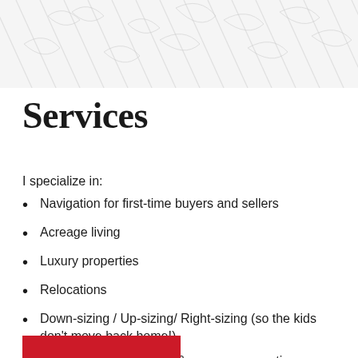[Figure (illustration): Decorative watermark-style background pattern with faint diagonal lines and leaf/branch motifs in light gray at the top of the page]
Services
I specialize in:
Navigation for first-time buyers and sellers
Acreage living
Luxury properties
Relocations
Down-sizing / Up-sizing/ Right-sizing (so the kids don't move back home!)
Purchase of investment & revenue properties